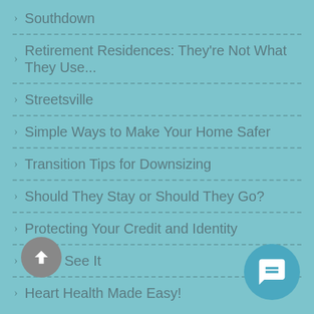Southdown
Retirement Residences: They're Not What They Use...
Streetsville
Simple Ways to Make Your Home Safer
Transition Tips for Downsizing
Should They Stay or Should They Go?
Protecting Your Credit and Identity
How I See It
Heart Health Made Easy!